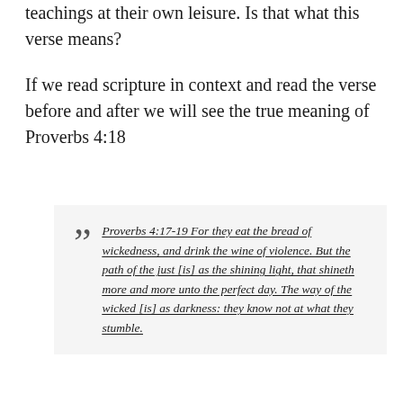teachings at their own leisure. Is that what this verse means?
If we read scripture in context and read the verse before and after we will see the true meaning of Proverbs 4:18
Proverbs 4:17-19 For they eat the bread of wickedness, and drink the wine of violence. But the path of the just [is] as the shining light, that shineth more and more unto the perfect day. The way of the wicked [is] as darkness: they know not at what they stumble.